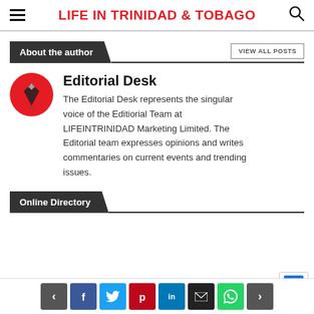LIFE IN TRINIDAD & TOBAGO
About the author
Editorial Desk
The Editorial Desk represents the singular voice of the Editiorial Team at LIFEINTRINIDAD Marketing Limited. The Editorial team expresses opinions and writes commentaries on current events and trending issues.
Online Directory